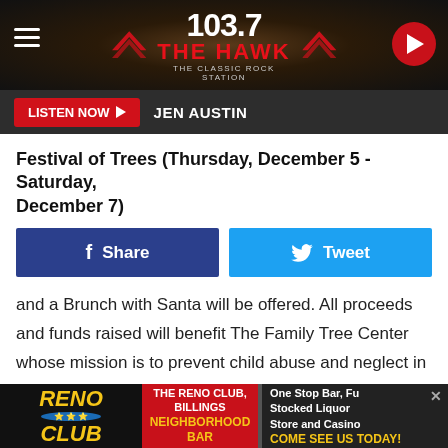[Figure (screenshot): 103.7 The Hawk classic rock station website header with logo, hamburger menu, and play button]
LISTEN NOW ▶  JEN AUSTIN
Festival of Trees (Thursday, December 5 - Saturday, December 7)
[Figure (other): Facebook Share button and Twitter Tweet button]
and a Brunch with Santa will be offered. All proceeds and funds raised will benefit The Family Tree Center whose mission is to prevent child abuse and neglect in Yellowstone County & the surrounding areas. CLICK HERE to get more info.
The Polar Express (Thursday, December 5 - Saturday,
[Figure (other): Advertisement banner for Reno Club, The Reno Club Billings Neighborhood Bar - One Stop Bar, Fully Stocked Liquor Store and Casino - COME SEE US TODAY!]